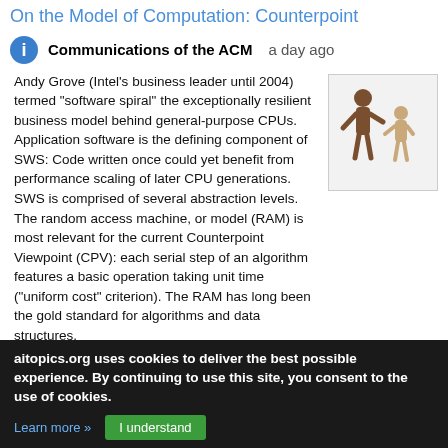On the Model of Computation: Counterpoint
Communications of the ACM    a day ago
Andy Grove (Intel's business leader until 2004) termed "software spiral" the exceptionally resilient business model behind general-purpose CPUs. Application software is the defining component of SWS: Code written once could yet benefit from performance scaling of later CPU generations. SWS is comprised of several abstraction levels. The random access machine, or model (RAM) is most relevant for the current Counterpoint Viewpoint (CPV): each serial step of an algorithm features a basic operation taking unit time ("uniform cost" criterion). The RAM has long been the gold standard for algorithms and data structures.
[Figure (illustration): Two 3D rendered figurines, one taller brown figure and one smaller beige figure, appearing to interact or gesture toward each other.]
aitopics.org uses cookies to deliver the best possible experience. By continuing to use this site, you consent to the use of cookies.
Learn more »   I understand